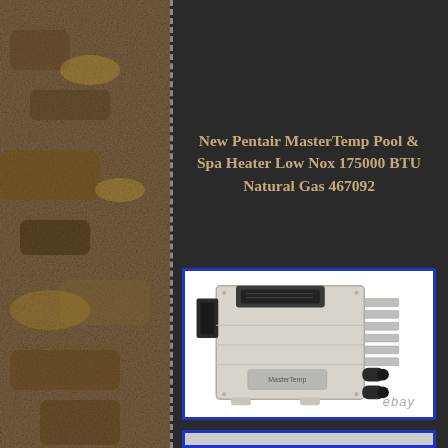New Pentair MasterTemp Pool & Spa Heater Low Nox 175000 BTU Natural Gas 467092
[Figure (photo): Pentair MasterTemp pool and spa heater unit, light gray/beige colored box-shaped heater with vents on the right side, black control panel on top, and black pipe connections on the right. eBay watermark visible at bottom right of image.]